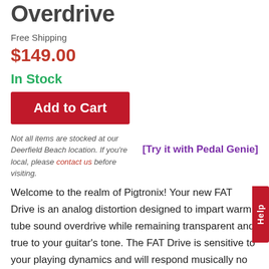Pigtronix Fat Drive Overdrive
Free Shipping
$149.00
In Stock
Add to Cart
Not all items are stocked at our Deerfield Beach location. If you're local, please contact us before visiting.
[Try it with Pedal Genie]
Help
Welcome to the realm of Pigtronix! Your new FAT Drive is an analog distortion designed to impart warm, tube sound overdrive while remaining transparent and true to your guitar's tone. The FAT Drive is sensitive to your playing dynamics and will respond musically no matter how soft o